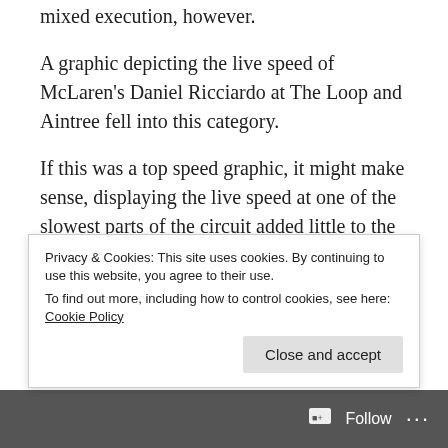mixed execution, however.
A graphic depicting the live speed of McLaren's Daniel Ricciardo at The Loop and Aintree fell into this category.
If this was a top speed graphic, it might make sense, displaying the live speed at one of the slowest parts of the circuit added little to the broadcast.
In contrast, F1 used augmented reality to highlight Alpine's Fernando Alonso when riding on-board with
Privacy & Cookies: This site uses cookies. By continuing to use this website, you agree to their use.
To find out more, including how to control cookies, see here: Cookie Policy
Close and accept
Follow ...